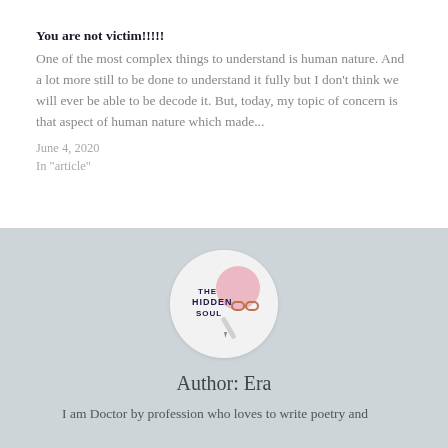You are not victim!!!!!
One of the most complex things to understand is human nature. And a lot more still to be done to understand it fully but I don't think we will ever be able to be decode it. But, today, my topic of concern is that aspect of human nature which made...
June 4, 2020
In "article"
[Figure (logo): The Hidden Soul blog logo — circular badge with dark navy bold text 'THE HIDDEN SOUL' and decorative illustration elements (glasses, pen, notebook)]
Author: Era
I am Doctor by profession who loves to write poetry and articles , a mental health enthusiastic , nature lover and very much interested in history and mythology .